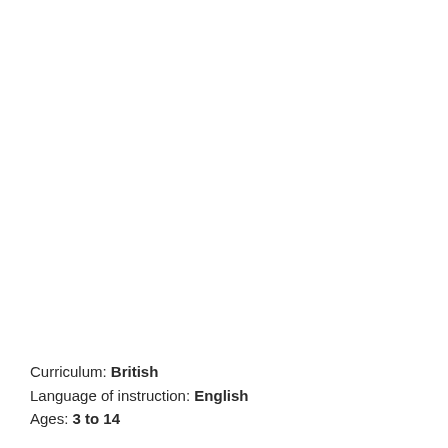Curriculum: British
Language of instruction: English
Ages: 3 to 14